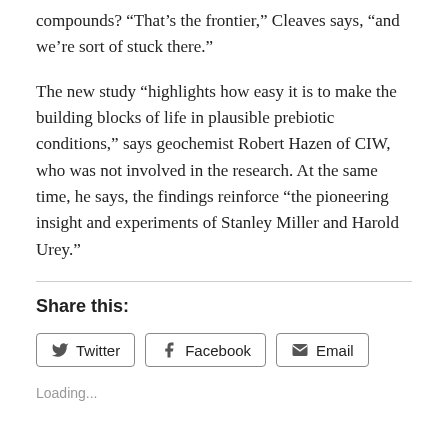compounds? “That’s the frontier,” Cleaves says, “and we’re sort of stuck there.”
The new study “highlights how easy it is to make the building blocks of life in plausible prebiotic conditions,” says geochemist Robert Hazen of CIW, who was not involved in the research. At the same time, he says, the findings reinforce “the pioneering insight and experiments of Stanley Miller and Harold Urey.”
Share this:
Loading...